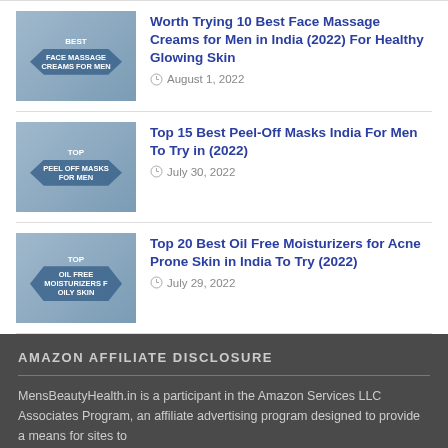Worth Trying 10 Best Face Massage Creams for Men in India (2022) For Healthy Glowing Skin — August 1, 2022
Top 15 Best Peel-Off Masks India For Men To Try in (2022) — July 30, 2022
Top 20 Best Oil Free Moisturizers for Acne Prone Skin in India To Try (2022) — July 29, 2022
AMAZON AFFILIATE DISCLOSURE
MensBeautyHealth.in is a participant in the Amazon Services LLC Associates Program, an affiliate advertising program designed to provide a means for sites to